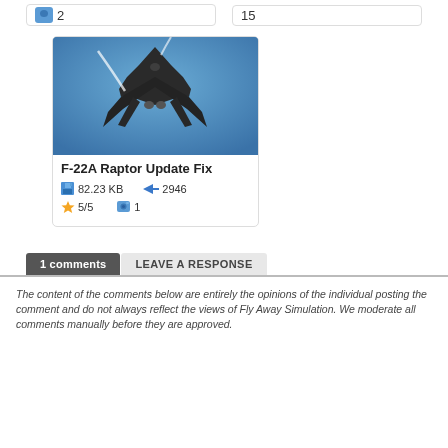2
15
[Figure (photo): F-22A Raptor stealth fighter jet viewed from below against blue sky, showing wing planform and exhaust vapor trails]
F-22A Raptor Update Fix
82.23 KB   2946
5/5   1
1 comments
LEAVE A RESPONSE
The content of the comments below are entirely the opinions of the individual posting the comment and do not always reflect the views of Fly Away Simulation. We moderate all comments manually before they are approved.